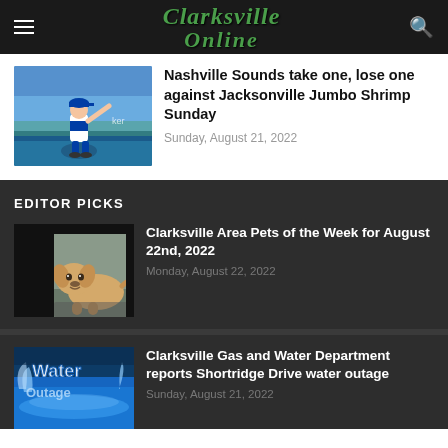Clarksville Online
[Figure (photo): Baseball player pitching in a stadium]
Nashville Sounds take one, lose one against Jacksonville Jumbo Shrimp Sunday
Sunday, August 21, 2022
EDITOR PICKS
[Figure (photo): Golden retriever dog sitting on a mat]
Clarksville Area Pets of the Week for August 22nd, 2022
Monday, August 22, 2022
[Figure (photo): Water outage graphic with water splashing and text]
Clarksville Gas and Water Department reports Shortridge Drive water outage
Sunday, August 21, 2022